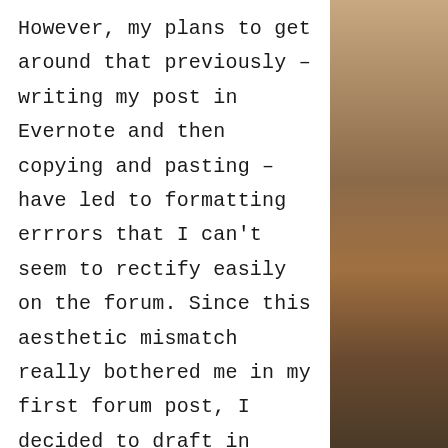However, my plans to get around that previously – writing my post in Evernote and then copying and pasting – have led to formatting errrors that I can't seem to rectify easily on the forum. Since this aesthetic mismatch really bothered me in my first forum post, I decided to draft in Evernote but publish my final copy by directly typing into the forum box. As one does, I edited my writing along the way and added some video, graphics and hyperlinking. Midway through compiling my reference list last night, I realised that I was late for heading out to a farewell party and left the computer without saving my work in any way.